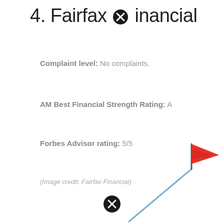4. Fairfax Financial
Complaint level: No complaints.
AM Best Financial Strength Rating: A
Forbes Advisor rating: 5/5
(Image credit: Fairfax Financial)
[Figure (illustration): Red flag on a pole with a diagonal line extending down-left, with a circular icon with X at bottom center — partial view of a golf course hole illustration]